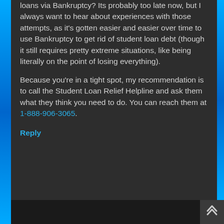loans via Bankruptcy? Its probably too late now, but I always want to hear about experiences with those attempts, as it's gotten easier and easier over time to use Bankruptcy to get rid of student loan debt (though it still requires pretty extreme situations, like being literally on the point of losing everything).
Because you're in a tight spot, my recommendation is to call the Student Loan Relief Helpline and ask them what they think you need to do. You can reach them at 1-888-906-3065.
Reply